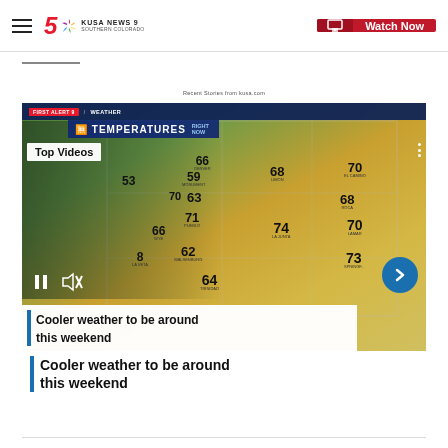KUSA NEWS 9 SOUTHERN COLORADO | Watch Now
[Figure (screenshot): TV news weather segment screenshot showing Colorado temperature map with a meteorologist presenting. Temperatures shown: 66 Denver, 53 (location), 59 Monument, 68 Limon, 70 El Camino, 63 Colorado Springs area, 68 (location), 70 (location), 71 Pueblo, 74 La Junta, 70 Lamar, 66 Wye, 62 Walsenburg, 73 Springfield, 64 Trinidad. Banner reads FIRST ALERT 9 / WEATHER and TEMPERATURES RIGHT NOW. Label: Top Videos.]
Cooler weather to be around this weekend